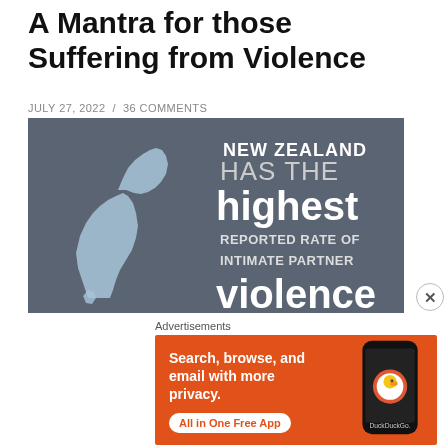A Mantra for those Suffering from Violence
JULY 27, 2022 / 36 COMMENTS
[Figure (infographic): Dark grey background infographic with a light blue silhouette map of New Zealand on the left. On the right, white and bold text reads: NEW ZEALAND HAS THE highest REPORTED RATE OF INTIMATE PARTNER violence]
Advertisements
[Figure (screenshot): DuckDuckGo advertisement on orange background. Text reads: Search, browse, and email with more privacy. All in One Free App. Shows a smartphone with DuckDuckGo logo and text.]